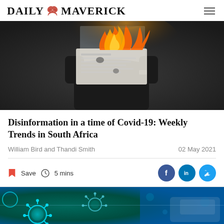DAILY MAVERICK
[Figure (photo): Person holding a burning newspaper in front of their face, with flames and smoke rising from the paper]
Disinformation in a time of Covid-19: Weekly Trends in South Africa
William Bird and Thandi Smith
02 May 2021
Save  5 mins
[Figure (photo): Close-up illustration of coronavirus particles glowing in cyan/green on a dark blue background]